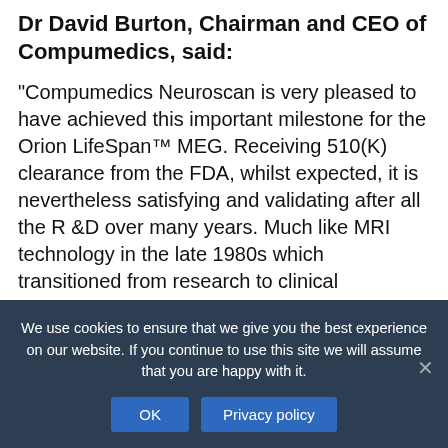Dr David Burton, Chairman and CEO of Compumedics, said:
“Compumedics Neuroscan is very pleased to have achieved this important milestone for the Orion LifeSpan™ MEG. Receiving 510(K) clearance from the FDA, whilst expected, it is nevertheless satisfying and validating after all the R &D over many years. Much like MRI technology in the late 1980s which transitioned from research to clinical application, we expect MEG to follow a similar trajectory. In addition to the technical accomplishments achieved by the company and our partners at the Korea Research Institute of Standards and Science (KRISS), it represents a foundation for the commercialisation of
We use cookies to ensure that we give you the best experience on our website. If you continue to use this site we will assume that you are happy with it.
OK   Privacy policy